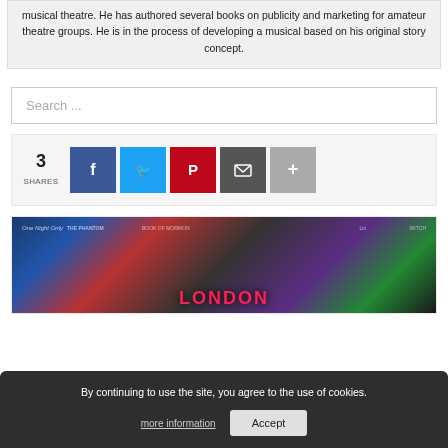musical theatre. He has authored several books on publicity and marketing for amateur theatre groups. He is in the process of developing a musical based on his original story concept.
Search ...
3 SHARES
[Figure (screenshot): Social share buttons: Facebook, Twitter, Pinterest, Email, More]
[Figure (photo): Promotional banner for London theatre shows with colorful show artwork and LONDON text]
By continuing to use the site, you agree to the use of cookies.
more information
Accept